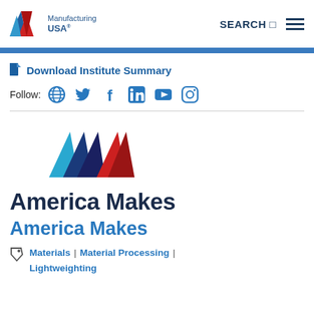[Figure (logo): Manufacturing USA logo with stylized red and blue M shapes and text 'Manufacturing USA']
SEARCH ☰
Download Institute Summary
Follow: [globe] [twitter] [facebook] [linkedin] [youtube] [instagram]
[Figure (logo): America Makes logo with three M-shaped triangles in blue, dark blue, and red]
America Makes
America Makes
Materials | Material Processing | Lightweighting